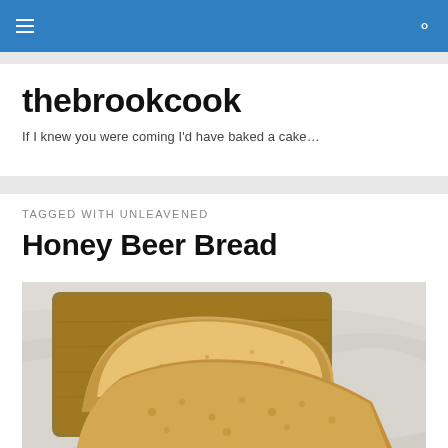thebrookcook — navigation bar
thebrookcook
If I knew you were coming I'd have baked a cake…
TAGGED WITH UNLEAVENED
Honey Beer Bread
[Figure (photo): Overhead view of sliced honey beer bread on a wooden cutting board on a marble surface]